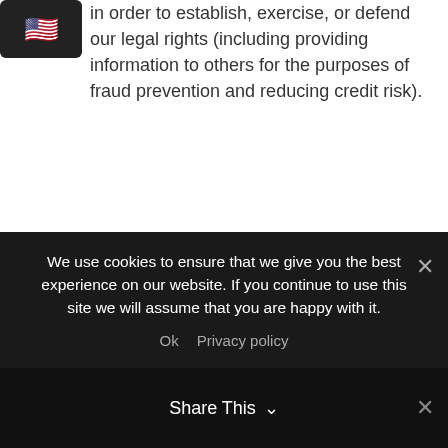[Figure (illustration): US flag emoji icon on dark background in top-left corner]
in order to establish, exercise, or defend our legal rights (including providing information to others for the purposes of fraud prevention and reducing credit risk).
Security of your personal information
1. We will take reasonable technical and organizational precautions to prevent the loss, misuse, or alteration of your personal information.
2. We will store all the personal information you provide on our secure (password- and firewall-protected) servers.
3. All electronic financial transactions entered into
We use cookies to ensure that we give you the best experience on our website. If you continue to use this site we will assume that you are happy with it.
Ok   Privacy policy
Share This